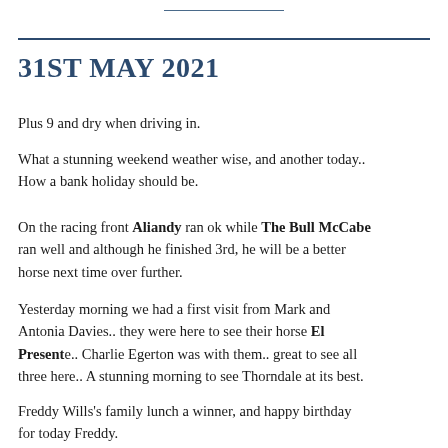31ST MAY 2021
Plus 9 and dry when driving in.
What a stunning weekend weather wise, and another today.. How a bank holiday should be.
On the racing front Aliandy ran ok while The Bull McCabe ran well and although he finished 3rd, he will be a better horse next time over further.
Yesterday morning we had a first visit from Mark and Antonia Davies.. they were here to see their horse El Presente.. Charlie Egerton was with them.. great to see all three here.. A stunning morning to see Thorndale at its best.
Freddy Wills's family lunch a winner, and happy birthday for today Freddy.